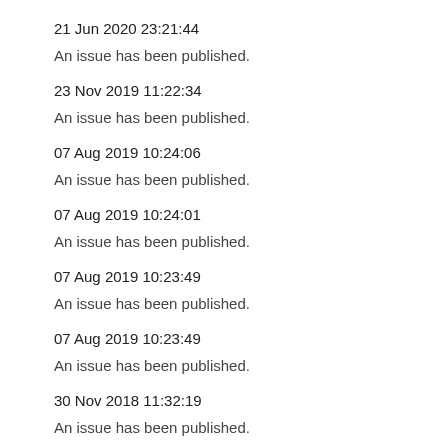21 Jun 2020 23:21:44
An issue has been published.
23 Nov 2019 11:22:34
An issue has been published.
07 Aug 2019 10:24:06
An issue has been published.
07 Aug 2019 10:24:01
An issue has been published.
07 Aug 2019 10:23:49
An issue has been published.
07 Aug 2019 10:23:49
An issue has been published.
30 Nov 2018 11:32:19
An issue has been published.